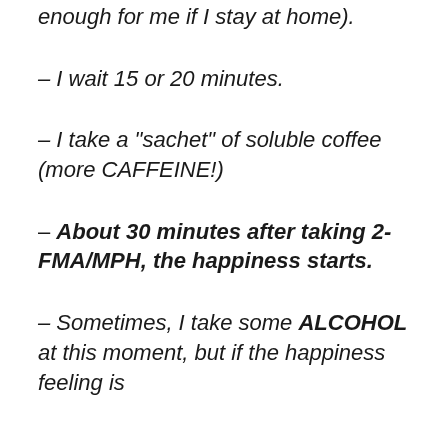enough for me if I stay at home).
– I wait 15 or 20 minutes.
– I take a “sachet” of soluble coffee (more CAFFEINE!)
– About 30 minutes after taking 2-FMA/MPH, the happiness starts.
– Sometimes, I take some ALCOHOL at this moment, but if the happiness feeling is